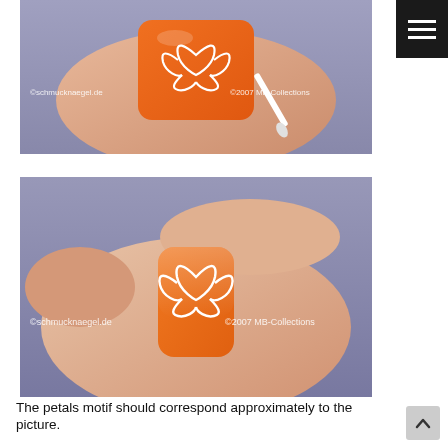[Figure (photo): Close-up photo of a hand applying a white lotus/petal nail art design onto an orange-painted fingernail using a small white brush tool. Watermarks read ©schmucknaegel.de and ©2007 MB-Collections.]
[Figure (photo): Close-up photo of a hand with fingers curled, showing an orange fingernail with a completed white lotus/petal motif design. Watermarks read ©schmucknaegel.de and ©2007 MB-Collections.]
The petals motif should correspond approximately to the picture.